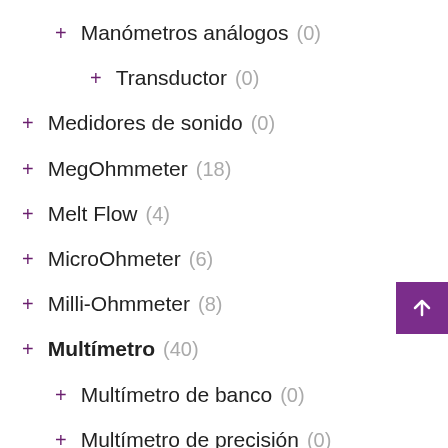+ Manómetros análogos (0)
+ Transductor (0)
+ Medidores de sonido (0)
+ MegOhmmeter (18)
+ Melt Flow (4)
+ MicroOhmeter (6)
+ Milli-Ohmmeter (8)
+ Multímetro (40)
+ Multímetro de banco (0)
+ Multímetro de precisión (0)
+ Multímetro pórtatil (39)